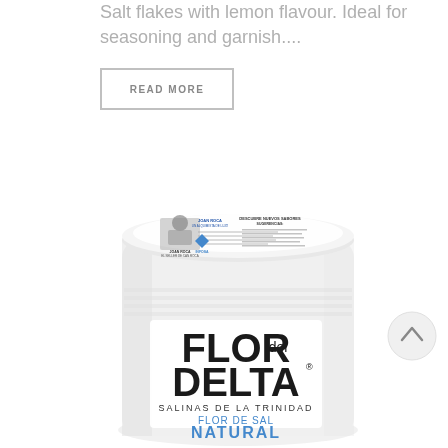Salt flakes with lemon flavour. Ideal for seasoning and garnish....
READ MORE
[Figure (photo): Product photo of a white cylindrical container of Flor del Delta Flor de Sal Natural salt, with a label showing Joan Roca and the Infosa logo on top, and large bold text reading FLOR del DELTA SALINAS DE LA TRINIDAD FLOR DE SAL NATURAL on the side.]